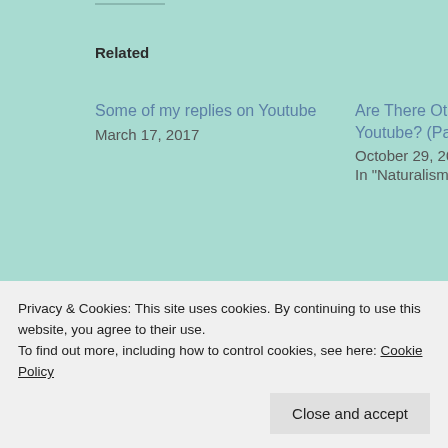Related
Some of my replies on Youtube
March 17, 2017
Are There Other Minds On Youtube? (Part 3)
October 29, 2015
In "Naturalism"
Epic Humanism For Calgary
March 26, 2016
In "Criticism of Allies"
Privacy & Cookies: This site uses cookies. By continuing to use this website, you agree to their use.
To find out more, including how to control cookies, see here: Cookie Policy
Close and accept
COMMENT *